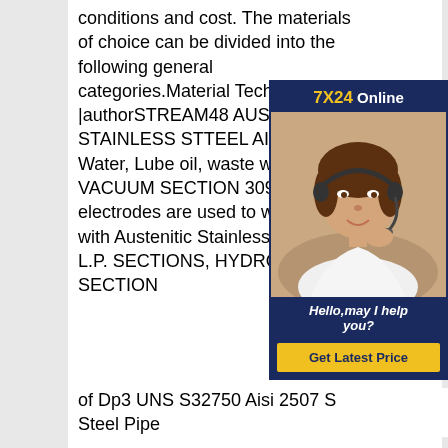conditions and cost. The materials of choice can be divided into the following general categories.Material Technology |authorSTREAM48 AUSTENETIC STAINLESS STTEEL AISI USES Water, Lube oil, waste water, CO VACUUM SECTION 309 Its filler electrodes are used to weld Carb with Austenitic Stainless Steel 31 & L.P. SECTIONS, HYDROLYSE SECTION
[Figure (photo): Advertisement box with a woman wearing a headset (customer service agent), with '7X24 Online' header, 'Hello,may I help you?' text, and 'Get Latest Price' button on dark blue background.]
of Dp3 UNS S32750 Aisi 2507 S Steel Pipe
buttweldingfittingUNS S32750 2507 ASTM A790 ASTM A789 Duplex Stainless Steel of Dp3 Uns S32750 AISI 2507 Stainless Steel PipebuttweldingfittingUNS